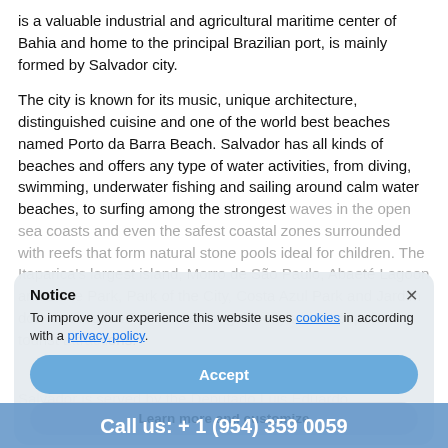is a valuable industrial and agricultural maritime center of Bahia and home to the principal Brazilian port, is mainly formed by Salvador city.
The city is known for its music, unique architecture, distinguished cuisine and one of the world best beaches named Porto da Barra Beach. Salvador has all kinds of beaches and offers any type of water activities, from diving, swimming, underwater fishing and sailing around calm water beaches, to surfing among the strongest waves in the open sea coasts and even the safest coastal zones surrounded with reefs that form natural stone pools ideal for children. The Itaparica's largest island, Morro de São Paulo, Abaeté Lagoon and Dune Park, Park of the City, Costa Azul Park and Jardim dos Namorados Park are among the city's most popular tourist attractions.
Salvador is served by the Deputado Luis Eduardo
Notice
To improve your experience this website uses cookies in according with a privacy policy.
Accept
Learn more and customize
Call us: + 1 (954) 359 0059